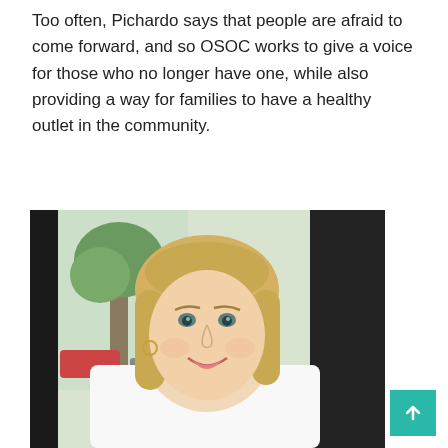Too often, Pichardo says that people are afraid to come forward, and so OSOC works to give a voice for those who no longer have one, while also providing a way for families to have a healthy outlet in the community.
[Figure (photo): Portrait photo of a young blonde woman smiling, wearing a white chef's coat, seated near a window with trees visible outside]